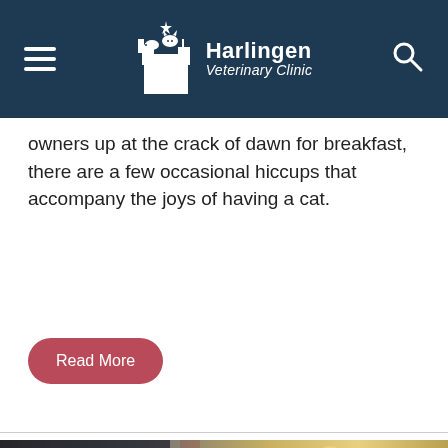Harlingen Veterinary Clinic
owners up at the crack of dawn for breakfast, there are a few occasional hiccups that accompany the joys of having a cat.
Read More
[Figure (photo): A dark cat silhouetted against bokeh lights, suggesting a holiday or festive setting with warm yellow and gold light orbs in the background.]